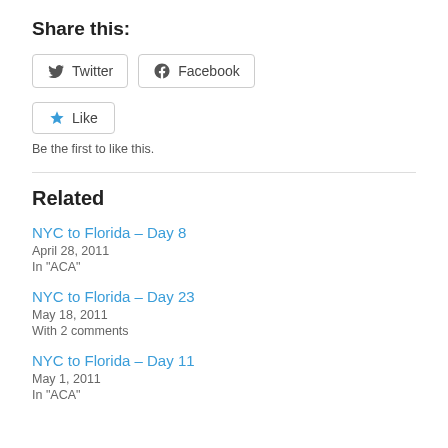Share this:
[Figure (other): Twitter and Facebook share buttons]
[Figure (other): Like button]
Be the first to like this.
Related
NYC to Florida – Day 8
April 28, 2011
In "ACA"
NYC to Florida – Day 23
May 18, 2011
With 2 comments
NYC to Florida – Day 11
May 1, 2011
In "ACA"